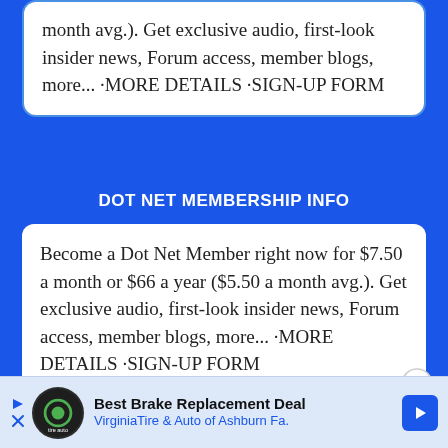month avg.). Get exclusive audio, first-look insider news, Forum access, member blogs, more... ·MORE DETAILS ·SIGN-UP FORM
DOT NET MEMBERSHIP INFO
Become a Dot Net Member right now for $7.50 a month or $66 a year ($5.50 a month avg.). Get exclusive audio, first-look insider news, Forum access, member blogs, more... ·MORE DETAILS ·SIGN-UP FORM
[Figure (infographic): Advertisement bar: Best Brake Replacement Deal - Virginia Tire & Auto of Ashburn Fa.]